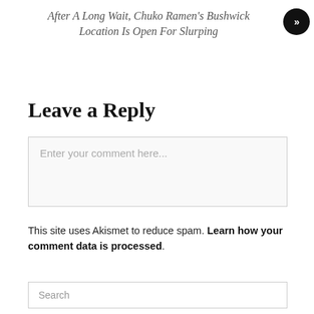After A Long Wait, Chuko Ramen's Bushwick Location Is Open For Slurping
Leave a Reply
Enter your comment here...
This site uses Akismet to reduce spam. Learn how your comment data is processed.
Search